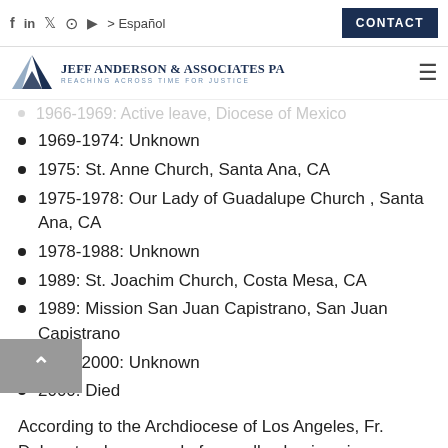Jeff Anderson & Associates PA — REACHING ACROSS TIME FOR JUSTICE | CONTACT | Español
1969-1974: Unknown
1975: St. Anne Church, Santa Ana, CA
1975-1978: Our Lady of Guadalupe Church , Santa Ana, CA
1978-1988: Unknown
1989: St. Joachim Church, Costa Mesa, CA
1989: Mission San Juan Capistrano, San Juan Capistrano
1990-2000: Unknown
2000: Died
According to the Archdiocese of Los Angeles, Fr. Daley stands accused of sexually abusing six